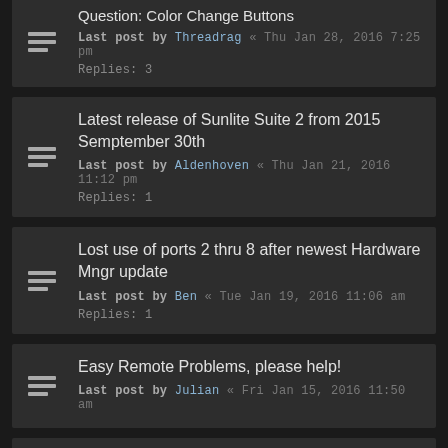Question: Color Change Buttons
Last post by Threadrag « Thu Jan 28, 2016 7:25 pm
Replies: 3
Latest release of Sunlite Suite 2 from 2015 Semptember 30th
Last post by Aldenhoven « Thu Jan 21, 2016 11:12 pm
Replies: 1
Lost use of ports 2 thru 8 after newest Hardware Mngr update
Last post by Ben « Tue Jan 19, 2016 11:06 am
Replies: 1
Easy Remote Problems, please help!
Last post by Julian « Fri Jan 15, 2016 11:50 am
Easy Remote on Multiple Tablets
Last post by MikeTrynczer « Tue Jan 12, 2016 10:45 am
PROGRAMMER WANTED!